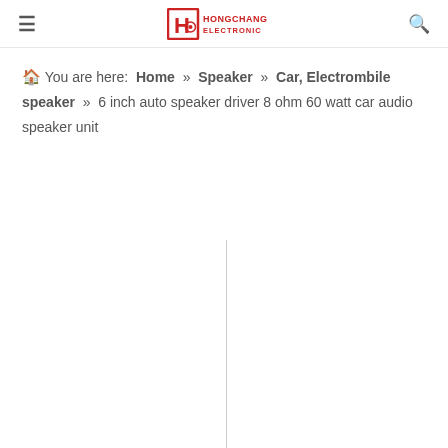≡  HONGCHANG ELECTRONIC  🔍
🏠 You are here:  Home » Speaker » Car, Electrombile speaker » 6 inch auto speaker driver 8 ohm 60 watt car audio speaker unit
[Figure (photo): Product image area with a vertical dividing line visible, photo content partially cut off]